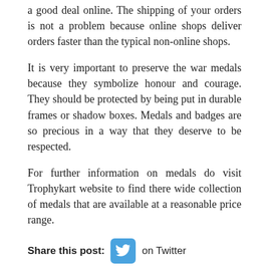a good deal online. The shipping of your orders is not a problem because online shops deliver orders faster than the typical non-online shops.
It is very important to preserve the war medals because they symbolize honour and courage. They should be protected by being put in durable frames or shadow boxes. Medals and badges are so precious in a way that they deserve to be respected.
For further information on medals do visit Trophykart website to find there wide collection of medals that are available at a reasonable price range.
Share this post: on Twitter on Facebook on Google+